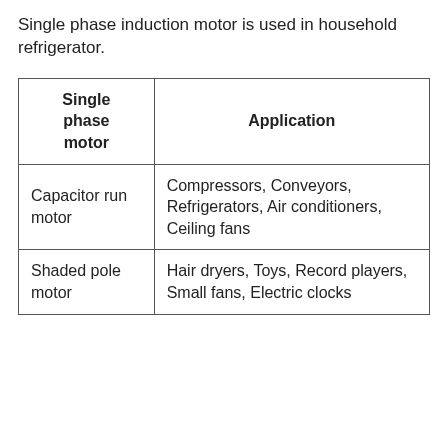Single phase induction motor is used in household refrigerator.
| Single phase motor | Application |
| --- | --- |
| Capacitor run motor | Compressors, Conveyors, Refrigerators, Air conditioners, Ceiling fans |
| Shaded pole motor | Hair dryers, Toys, Record players, Small fans, Electric clocks |